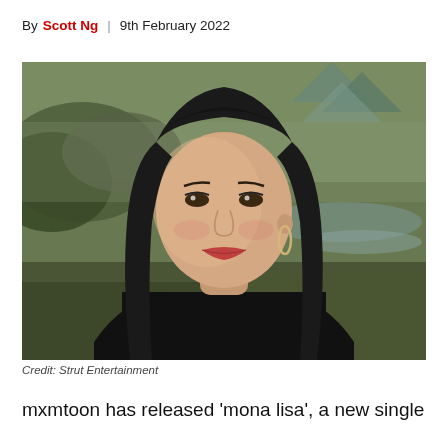By Scott Ng | 9th February 2022
[Figure (photo): A young woman with long dark hair wearing a black top, posed against a backdrop resembling a classical painting with a landscape (reminiscent of the Mona Lisa background). She wears a gold hoop earring and looks directly at the camera.]
Credit: Strut Entertainment
mxmtoon has released ‘mona lisa’, a new single